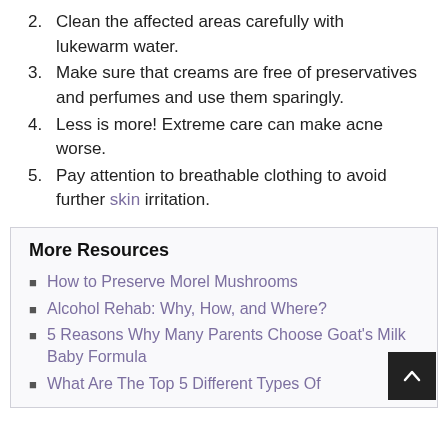2. Clean the affected areas carefully with lukewarm water.
3. Make sure that creams are free of preservatives and perfumes and use them sparingly.
4. Less is more! Extreme care can make acne worse.
5. Pay attention to breathable clothing to avoid further skin irritation.
More Resources
How to Preserve Morel Mushrooms
Alcohol Rehab: Why, How, and Where?
5 Reasons Why Many Parents Choose Goat's Milk Baby Formula
What Are The Top 5 Different Types Of